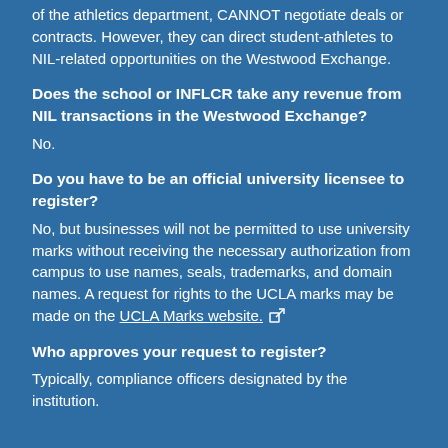of the athletics department, CANNOT negotiate deals or contracts. However, they can direct student-athletes to NIL-related opportunities on the Westwood Exchange.
Does the school or INFLCR take any revenue from NIL transactions in the Westwood Exchange?
No.
Do you have to be an official university licensee to register?
No, but businesses will not be permitted to use university marks without receiving the necessary authorization from campus to use names, seals, trademarks, and domain names. A request for rights to the UCLA marks may be made on the UCLA Marks website.
Who approves your request to register?
Typically, compliance officers designated by the institution.